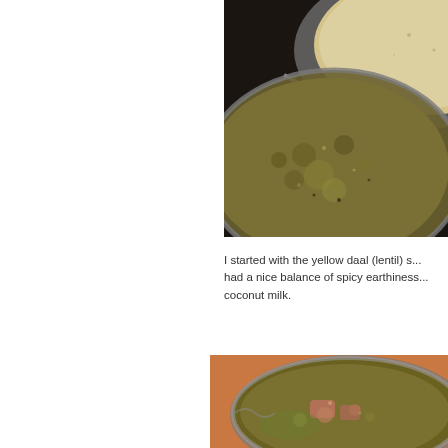[Figure (photo): Close-up photo of Indian food dishes in metal bowls on a thali plate. Shows yellow-brown daal (lentil soup) in a metal bowl and a creamy beige liquid in another bowl, viewed from above.]
I started with the yellow daal (lentil) s... had a nice balance of spicy earthiness... coconut milk.
[Figure (photo): Close-up photo of another Indian food dish in a metal bowl on a thali plate, showing a chunky curry or vegetable dish with greenish-brown color.]